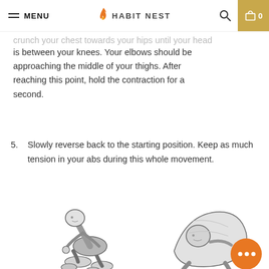MENU | HABIT NEST | 0
crunch your chest towards your hips until your head is between your knees. Your elbows should be approaching the middle of your thighs. After reaching this point, hold the contraction for a second.
5. Slowly reverse back to the starting position. Keep as much tension in your abs during this whole movement.
[Figure (illustration): Two illustrations of a person performing an ab crunch exercise — left shows the starting position on knees, right shows the fully crunched position with head between knees.]